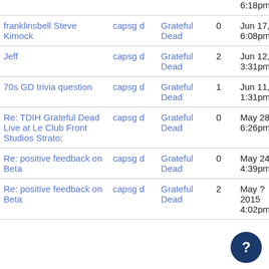| Topic | Author | Forum | Replies | Date |
| --- | --- | --- | --- | --- |
|  |  |  |  | 6:18pm |
| franklinsbell Steve Kimock | capsgd | Grateful Dead | 0 | Jun 17, 2015 6:08pm |
| Jeff | capsgd | Grateful Dead | 2 | Jun 12, 2015 3:31pm |
| 70s GD trivia question | capsgd | Grateful Dead | 1 | Jun 11, 2015 1:31pm |
| Re: TDIH Grateful Dead Live at Le Club Front Studios Strato; | capsgd | Grateful Dead | 0 | May 28, 2015 6:26pm |
| Re: positive feedback on Beta | capsgd | Grateful Dead | 0 | May 24, 2015 4:39pm |
| Re: positive feedback on Beta | capsgd | Grateful Dead | 2 | May ?, 2015 4:02pm |